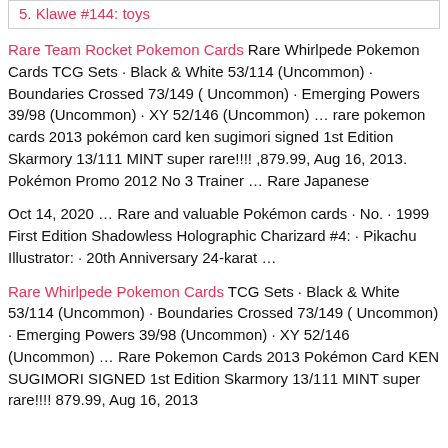5. Klawe #144: toys
Rare Team Rocket Pokemon Cards Rare Whirlpede Pokemon Cards TCG Sets · Black & White 53/114 (Uncommon) · Boundaries Crossed 73/149 ( Uncommon) · Emerging Powers 39/98 (Uncommon) · XY 52/146 (Uncommon) … rare pokemon cards 2013 pokémon card ken sugimori signed 1st Edition Skarmory 13/111 MINT super rare!!!! ,879.99, Aug 16, 2013. Pokémon Promo 2012 No 3 Trainer … Rare Japanese
Oct 14, 2020 … Rare and valuable Pokémon cards · No. · 1999 First Edition Shadowless Holographic Charizard #4: · Pikachu Illustrator: · 20th Anniversary 24-karat …
Rare Whirlpede Pokemon Cards TCG Sets · Black & White 53/114 (Uncommon) · Boundaries Crossed 73/149 ( Uncommon) · Emerging Powers 39/98 (Uncommon) · XY 52/146 (Uncommon) … Rare Pokemon Cards 2013 Pokémon Card KEN SUGIMORI SIGNED 1st Edition Skarmory 13/111 MINT super rare!!!! 879.99, Aug 16, 2013